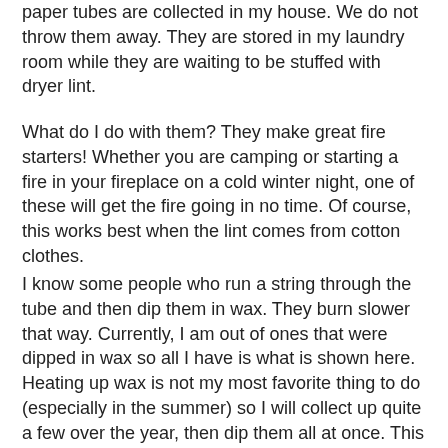paper tubes are collected in my house.  We do not throw them away. They are stored in my  laundry room while they are waiting to be stuffed with dryer lint.
What do I do with them?  They make great fire starters!  Whether you are camping or starting a fire in your fireplace on a cold winter night, one of these will get the fire going in no time.  Of course, this works best when the lint comes from cotton clothes.
I know some people who run a string through the tube and then dip them in wax.  They burn slower that way. Currently, I am out of ones that were dipped in wax so all I have is what is shown here.  Heating up wax is not my most favorite thing to do (especially in the summer) so I will collect up quite a few over the year, then dip them all at once. This chore is usually saved for sometime in the fall.  Any left over wax can be made into candles.
In the meantime, I put three of them in a baggie and store them in a Rubbermaid bin in my garage.  This set is now ready to go until dipping time in the fall.